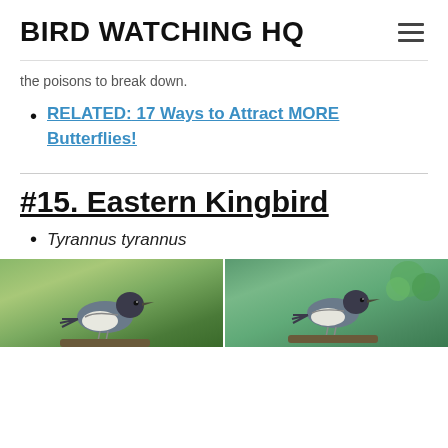BIRD WATCHING HQ
the poisons to break down.
RELATED: 17 Ways to Attract MORE Butterflies!
#15. Eastern Kingbird
Tyrannus tyrannus
[Figure (photo): Two photographs of Eastern Kingbird (Tyrannus tyrannus) birds side by side]